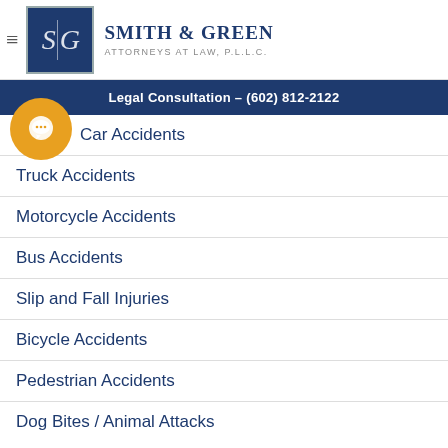[Figure (logo): Smith & Green Attorneys at Law, P.L.L.C. logo with S|G monogram in dark blue box and firm name text]
Legal Consultation – (602) 812-2122
Car Accidents
Truck Accidents
Motorcycle Accidents
Bus Accidents
Slip and Fall Injuries
Bicycle Accidents
Pedestrian Accidents
Dog Bites / Animal Attacks